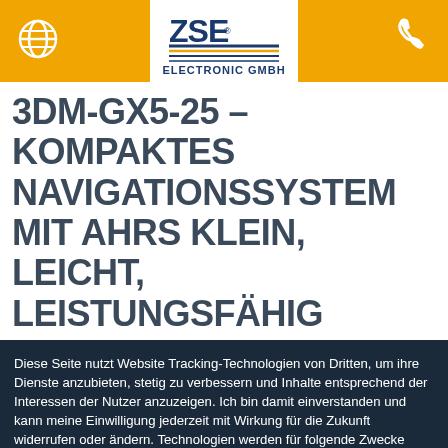[Figure (logo): ZSE Electronic GmbH logo with globe icon and phone icon on orange header bar]
3DM-GX5-25 – KOMPAKTES NAVIGATIONSSYSTEM MIT AHRS KLEIN, LEICHT, LEISTUNGSFÄHIG
Diese Seite nutzt Website Tracking-Technologien von Dritten, um ihre Dienste anzubieten, stetig zu verbessern und Inhalte entsprechend der Interessen der Nutzer anzuzeigen. Ich bin damit einverstanden und kann meine Einwilligung jederzeit mit Wirkung für die Zukunft widerrufen oder ändern. Technologien werden für folgende Zwecke verwendet: Besucher-Statistiken, Multimedia, Datenschutz Zustimmungen
Produkte | Menü | Warenkorb | Suche